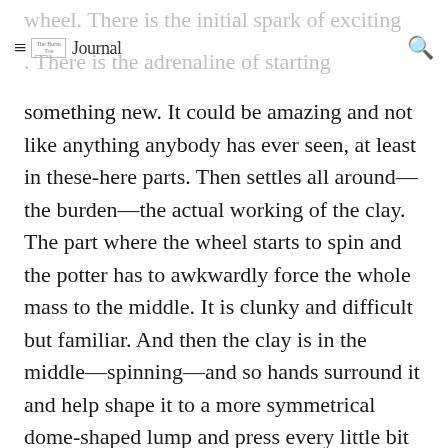The Burnt Toe Journal [logo/navigation bar with hamburger menu and search icon]
wheel. There is the initial spark of exciting something new. There is the adrenaline of starting something new. It could be amazing and not like anything anybody has ever seen, at least in these-here parts. Then settles all around—the burden—the actual working of the clay. The part where the wheel starts to spin and the potter has to awkwardly force the whole mass to the middle. It is clunky and difficult but familiar. And then the clay is in the middle—spinning—and so hands surround it and help shape it to a more symmetrical dome-shaped lump and press every little bit of air out of it so that after the work of painstaking formation and artistic ornamentation it does not simply explode in the kiln.
And so, the pressing out of every bubble feels good